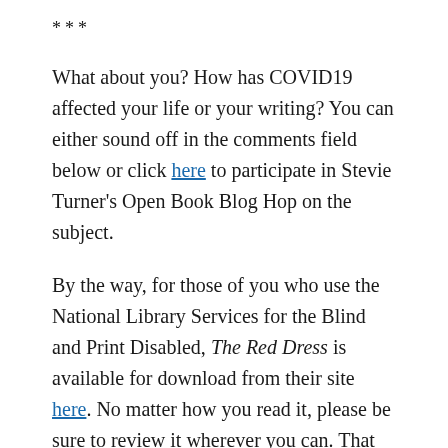***
What about you? How has COVID19 affected your life or your writing? You can either sound off in the comments field below or click here to participate in Stevie Turner's Open Book Blog Hop on the subject.
By the way, for those of you who use the National Library Services for the Blind and Print Disabled, The Red Dress is available for download from their site here. No matter how you read it, please be sure to review it wherever you can. That goes for all my books. Thank you for stopping by. Stay safe, happy, and healthy.